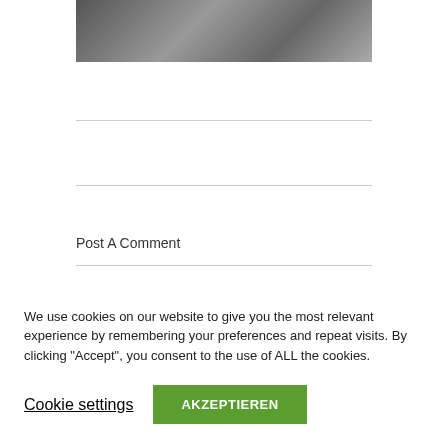[Figure (photo): Black and white photo of a woman in an urban street setting with cars in background]
Post A Comment
We use cookies on our website to give you the most relevant experience by remembering your preferences and repeat visits. By clicking “Accept”, you consent to the use of ALL the cookies.
Cookie settings
AKZEPTIEREN